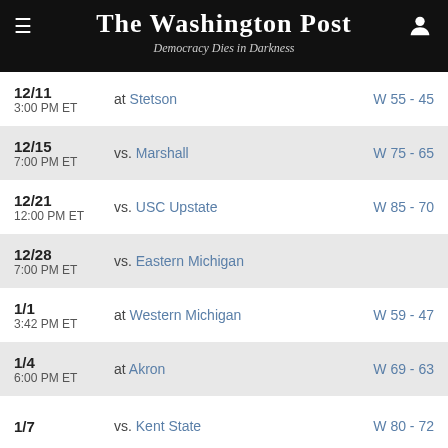The Washington Post — Democracy Dies in Darkness
| Date | Matchup | Result |
| --- | --- | --- |
| 12/11
3:00 PM ET | at Stetson | W 55 - 45 |
| 12/15
7:00 PM ET | vs. Marshall | W 75 - 65 |
| 12/21
12:00 PM ET | vs. USC Upstate | W 85 - 70 |
| 12/28
7:00 PM ET | vs. Eastern Michigan |  |
| 1/1
3:42 PM ET | at Western Michigan | W 59 - 47 |
| 1/4
6:00 PM ET | at Akron | W 69 - 63 |
| 1/7 | vs. Kent State | W 80 - 72 |